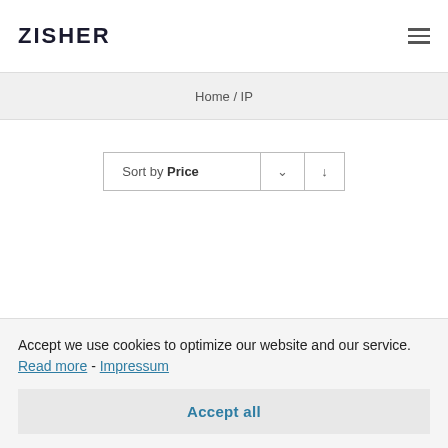ZISHER
Home / IP
Sort by Price
Accept we use cookies to optimize our website and our service. Read more - Impressum
Accept all